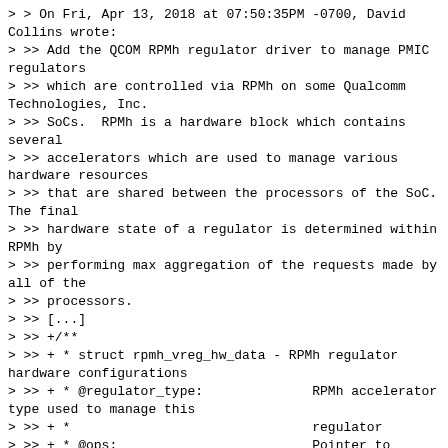> > On Fri, Apr 13, 2018 at 07:50:35PM -0700, David Collins wrote:
> >> Add the QCOM RPMh regulator driver to manage PMIC regulators
> >> which are controlled via RPMh on some Qualcomm Technologies, Inc.
> >> SoCs.  RPMh is a hardware block which contains several
> >> accelerators which are used to manage various hardware resources
> >> that are shared between the processors of the SoC. The final
> >> hardware state of a regulator is determined within RPMh by
> >> performing max aggregation of the requests made by all of the
> >> processors.
> >> [...]
> >> +/**
> >> + * struct rpmh_vreg_hw_data - RPMh regulator hardware configurations
> >> + * @regulator_type:              RPMh accelerator type used to manage this
> >> + *                               regulator
> >> + * @ops:                         Pointer to regulator ops callback structure
> >> + * @voltage_range:               The single range of voltages supported by this
> >> + *                               PMIC regulator type
> >> + * @n_voltages:                  The number of